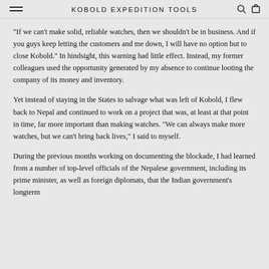KOBOLD EXPEDITION TOOLS
"If we can't make solid, reliable watches, then we shouldn't be in business. And if you guys keep letting the customers and me down, I will have no option but to close Kobold." In hindsight, this warning had little effect. Instead, my former colleagues used the opportunity generated by my absence to continue looting the company of its money and inventory.
Yet instead of staying in the States to salvage what was left of Kobold, I flew back to Nepal and continued to work on a project that was, at least at that point in time, far more important than making watches. "We can always make more watches, but we can't bring back lives," I said to myself.
During the previous months working on documenting the blockade, I had learned from a number of top-level officials of the Nepalese government, including its prime minister, as well as foreign diplomats, that the Indian government's longterm